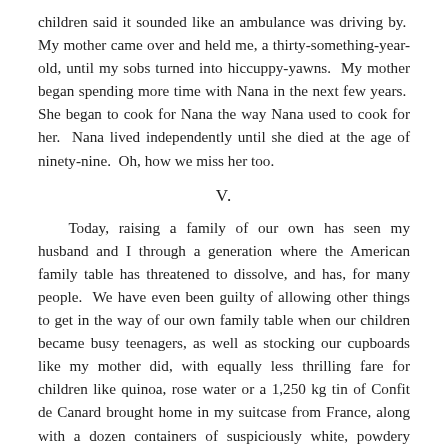children said it sounded like an ambulance was driving by. My mother came over and held me, a thirty-something-year-old, until my sobs turned into hiccuppy-yawns. My mother began spending more time with Nana in the next few years. She began to cook for Nana the way Nana used to cook for her. Nana lived independently until she died at the age of ninety-nine. Oh, how we miss her too.
V.
Today, raising a family of our own has seen my husband and I through a generation where the American family table has threatened to dissolve, and has, for many people. We have even been guilty of allowing other things to get in the way of our own family table when our children became busy teenagers, as well as stocking our cupboards like my mother did, with equally less thrilling fare for children like quinoa, rose water or a 1,250 kg tin of Confit de Canard brought home in my suitcase from France, along with a dozen containers of suspiciously white, powdery Fleur de Sel salt in my backpack that got me pulled over by security in three countries.